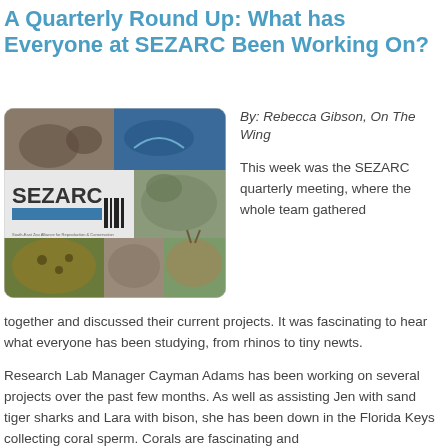A Quarterly Round Up: What has Everyone at SEZARC Been Working On?
[Figure (photo): SEZARC logo and photo collage of various animals including rhinos, shark, jaguar, deer, and other wildlife]
By: Rebecca Gibson, On The Wing
This week was the SEZARC quarterly meeting, where the whole team gathered together and discussed their current projects. It was fascinating to hear what everyone has been studying, from rhinos to tiny newts.
Research Lab Manager Cayman Adams has been working on several projects over the past few months. As well as assisting Jen with sand tiger sharks and Lara with bison, she has been down in the Florida Keys collecting coral sperm. Corals are fascinating and